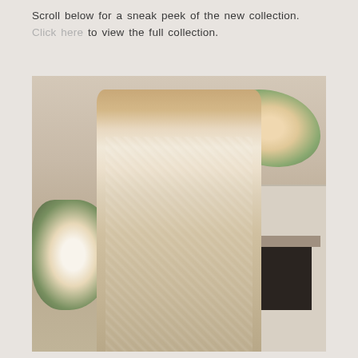Scroll below for a sneak peek of the new collection. Click here to view the full collection.
[Figure (photo): A model wearing an intricate long-sleeve lace wedding gown with a deep V-neckline, standing in a room with floral arrangements and a white stone fireplace in the background.]